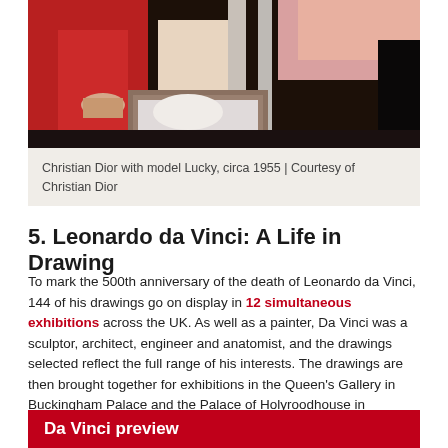[Figure (photo): A photograph showing Christian Dior with a model named Lucky, circa 1955, showing a fashion fitting scene with red garments and a model.]
Christian Dior with model Lucky, circa 1955 | Courtesy of Christian Dior
5. Leonardo da Vinci: A Life in Drawing
To mark the 500th anniversary of the death of Leonardo da Vinci, 144 of his drawings go on display in 12 simultaneous exhibitions across the UK. As well as a painter, Da Vinci was a sculptor, architect, engineer and anatomist, and the drawings selected reflect the full range of his interests. The drawings are then brought together for exhibitions in the Queen's Gallery in Buckingham Palace and the Palace of Holyroodhouse in Edinburgh.
February 2019, various venues; May, Buckingham Palace; November, Palace of Holyroodhouse
Da Vinci preview